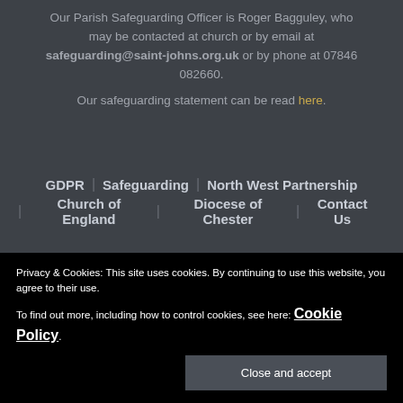Our Parish Safeguarding Officer is Roger Bagguley, who may be contacted at church or by email at safeguarding@saint-johns.org.uk or by phone at 07846 082660.
Our safeguarding statement can be read here.
GDPR | Safeguarding | North West Partnership | Church of England | Diocese of Chester | Contact Us
Privacy & Cookies: This site uses cookies. By continuing to use this website, you agree to their use.
To find out more, including how to control cookies, see here: Cookie Policy.
Close and accept